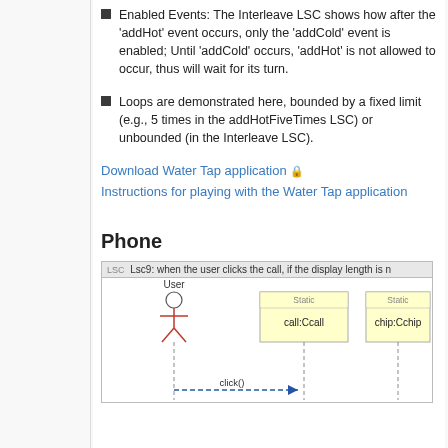Enabled Events: The Interleave LSC shows how after the 'addHot' event occurs, only the 'addCold' event is enabled; Until 'addCold' occurs, 'addHot' is not allowed to occur, thus will wait for its turn.
Loops are demonstrated here, bounded by a fixed limit (e.g., 5 times in the addHotFiveTimes LSC) or unbounded (in the Interleave LSC).
Download Water Tap application 🔒
Instructions for playing with the Water Tap application
Phone
[Figure (engineering-diagram): UML sequence diagram titled 'Lsc9: when the user clicks the call, if the display length is...' showing User actor, call:Ccall instance, chip:Cchip instance, with a click() message arrow from User to call:Ccall lifeline.]